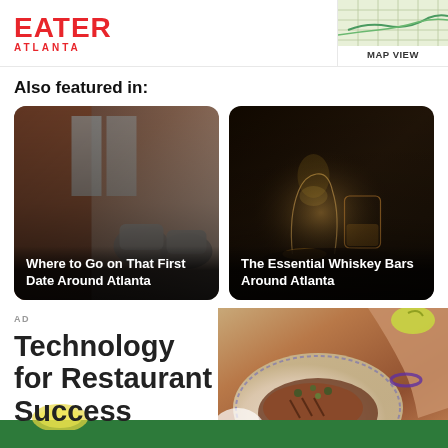EATER ATLANTA
MAP VIEW
Also featured in:
[Figure (photo): Rooftop patio with wicker chairs and brick wall background - card for 'Where to Go on That First Date Around Atlanta']
[Figure (photo): Two whiskey glasses on a dark table - card for 'The Essential Whiskey Bars Around Atlanta']
AD
Technology for Restaurant Success
[Figure (photo): Food photo showing a plate with meat dish, garnished with herbs, person's arm visible, on decorative plate with green background]